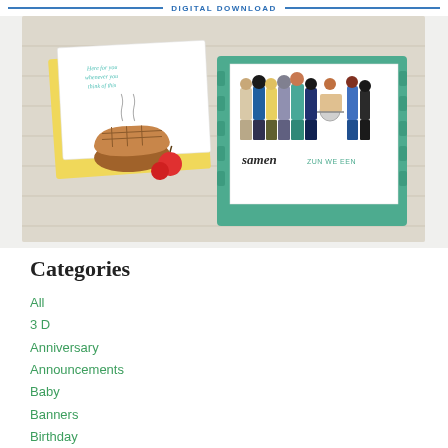DIGITAL DOWNLOAD
[Figure (photo): Product photo showing two greeting cards on a wooden background. Left card has apple pie and apple illustrations with teal handwritten text. Right card on a teal frame shows a group of diverse people from behind with the text 'samen ZUN WE EEN'.]
Categories
All
3 D
Anniversary
Announcements
Baby
Banners
Birthday
Blog Hops